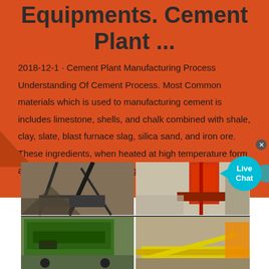Equipments. Cement Plant ...
2018-12-1 · Cement Plant Manufacturing Process Understanding Of Cement Process. Most Common materials which is used to manufacturing cement is includes limestone, shells, and chalk combined with shale, clay, slate, blast furnace slag, silica sand, and iron ore. These ingredients, when heated at high temperature form a rock-like substance that is ground ...
[Figure (photo): Four-panel photo collage showing cement plant equipment: top-left shows a large crane/conveyor structure at a quarry; top-right shows a red drilling machine operating at a white mineral site; bottom-left shows green mobile crushing/screening equipment; bottom-right shows yellow and orange industrial conveyor/processing equipment.]